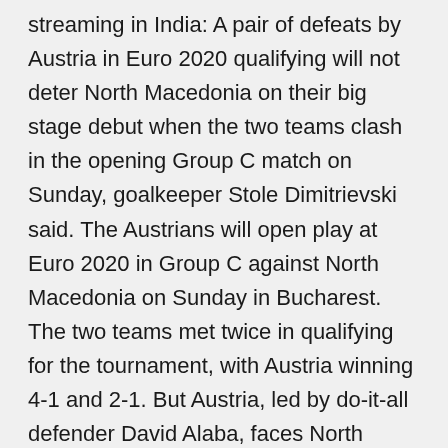streaming in India: A pair of defeats by Austria in Euro 2020 qualifying will not deter North Macedonia on their big stage debut when the two teams clash in the opening Group C match on Sunday, goalkeeper Stole Dimitrievski said. The Austrians will open play at Euro 2020 in Group C against North Macedonia on Sunday in Bucharest. The two teams met twice in qualifying for the tournament, with Austria winning 4-1 and 2-1. But Austria, led by do-it-all defender David Alaba, faces North Macedonia, led by forward Goran Pandev, in the group stage of the UEFA Euro 2020 at Arena Nationala in Bucharest, Romania, on Sunday Austria 3-1 North Macedonia: Marko Arnautovic seals victory over Euro 2020 tournament minnows after Goran Pandev had pounced on defensive blunder to equalise Austria got their Euro 2020 bid off to North Macedonia face